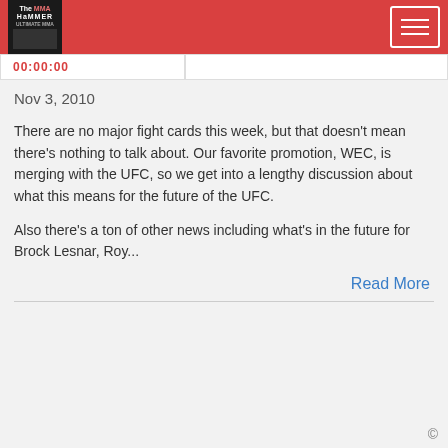The MMA Hammer - header with logo and navigation
00:00:00
Nov 3, 2010
There are no major fight cards this week, but that doesn't mean there's nothing to talk about.  Our favorite promotion, WEC, is merging with the UFC, so we get into a lengthy discussion about what this means for the future of the UFC.
Also there's a ton of other news including what's in the future for Brock Lesnar, Roy...
Read More
©